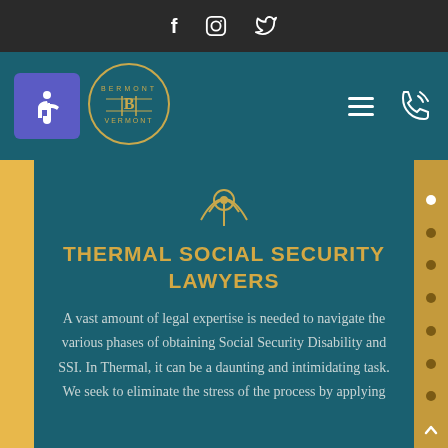f  Instagram  Twitter — social media icons
[Figure (screenshot): Website header with accessibility button (wheelchair icon), law firm logo (Bermont Law), hamburger menu, and phone icon on teal background]
[Figure (logo): Circular signal/broadcast icon in gold outline on teal background]
THERMAL SOCIAL SECURITY LAWYERS
A vast amount of legal expertise is needed to navigate the various phases of obtaining Social Security Disability and SSI. In Thermal, it can be a daunting and intimidating task. We seek to eliminate the stress of the process by applying